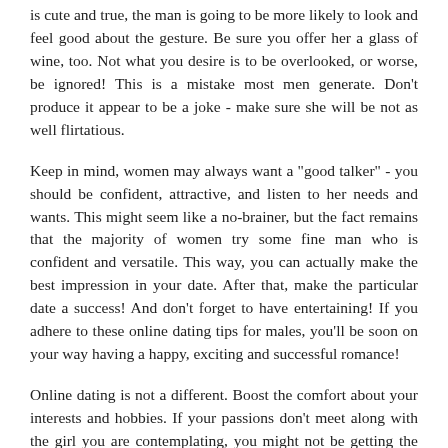is cute and true, the man is going to be more likely to look and feel good about the gesture. Be sure you offer her a glass of wine, too. Not what you desire is to be overlooked, or worse, be ignored! This is a mistake most men generate. Don't produce it appear to be a joke - make sure she will be not as well flirtatious.
Keep in mind, women may always want a "good talker" - you should be confident, attractive, and listen to her needs and wants. This might seem like a no-brainer, but the fact remains that the majority of women try some fine man who is confident and versatile. This way, you can actually make the best impression in your date. After that, make the particular date a success! And don't forget to have entertaining! If you adhere to these online dating tips for males, you'll be soon on your way having a happy, exciting and successful romance!
Online dating is not a different. Boost the comfort about your interests and hobbies. If your passions don't meet along with the girl you are contemplating, you might not be getting the days you need. However , it shouldn't